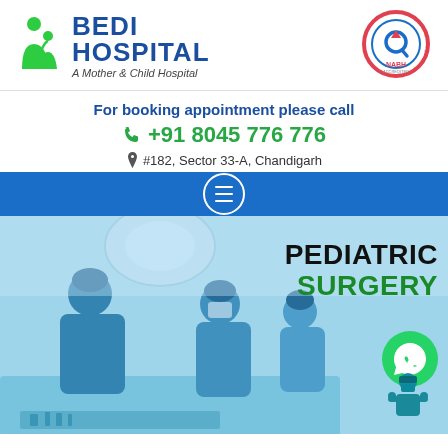[Figure (logo): Bedi Hospital logo with green mother-child figure icon and NABH accreditation badge]
For booking appointment please call
+91 8045 776 776
#182, Sector 33-A, Chandigarh
[Figure (photo): Surgical team performing an operation in an operating room, with text overlay reading PEDIATRIC SURGERY and WhatsApp and doctor icons]